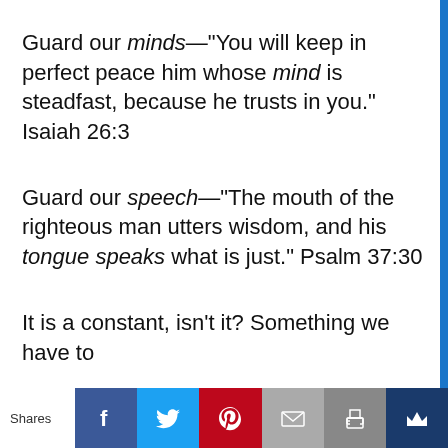Guard our minds—“You will keep in perfect peace him whose mind is steadfast, because he trusts in you.” Isaiah 26:3
Guard our speech—“The mouth of the righteous man utters wisdom, and his tongue speaks what is just.” Psalm 37:30
It is a constant, isn’t it? Something we have to
Shares | Facebook | Twitter | Pinterest | Email | Print | Crown